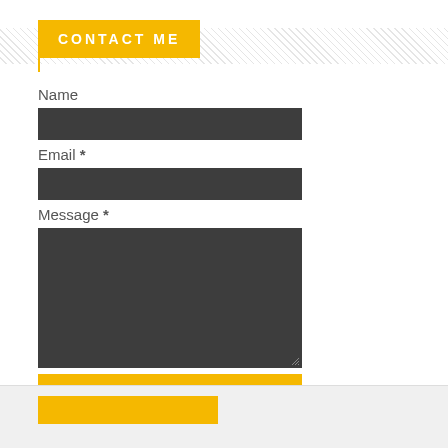CONTACT ME
Name
[Figure (screenshot): Dark gray input field for Name]
Email *
[Figure (screenshot): Dark gray input field for Email]
Message *
[Figure (screenshot): Dark gray textarea for Message with resize handle]
Send